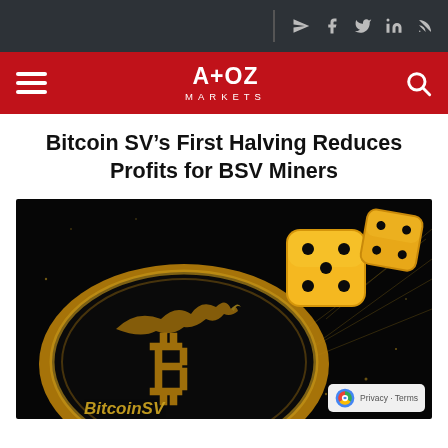A+OZ MARKETS
Bitcoin SV’s First Halving Reduces Profits for BSV Miners
[Figure (illustration): Dark background illustration showing a Bitcoin SV coin (gold, oval shaped with Bitcoin B symbol and dragon motif) with two golden dice floating above it, and text 'BitcoinSV' at the bottom. A reCAPTCHA badge is visible in the bottom right corner.]